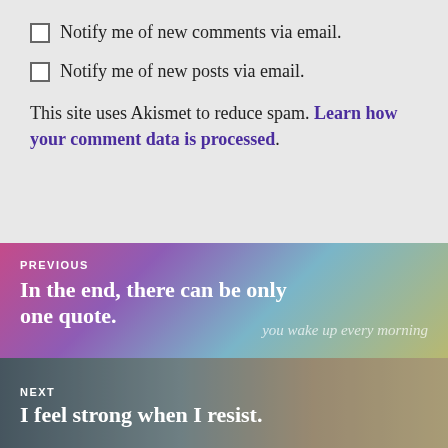Notify me of new comments via email.
Notify me of new posts via email.
This site uses Akismet to reduce spam. Learn how your comment data is processed.
[Figure (illustration): Previous post navigation block with gradient background (pink to teal/gold) and overlaid cursive text reading 'you wake up every morning']
PREVIOUS
In the end, there can be only one quote.
[Figure (photo): Next post navigation block with photo of a woman exercising in a gym, lying on a bench]
NEXT
I feel strong when I resist.